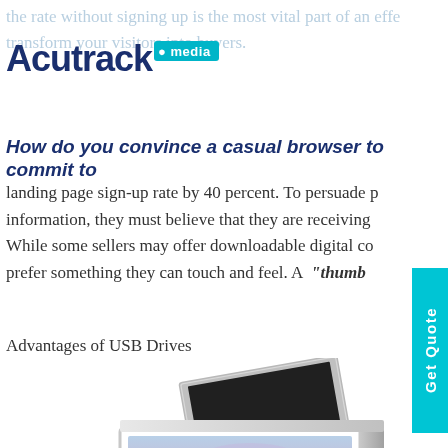the rate without signing up is the most vital part of an eff... transform your visitors into buyers.
[Figure (logo): Acutrack media logo with cyan badge]
How do you convince a casual browser to commit to
landing page sign-up rate by 40 percent. To persuade people to give their information, they must believe that they are receiving... While some sellers may offer downloadable digital content, many people prefer something they can touch and feel. A "thumb...
Advantages of USB Drives
[Figure (photo): USB drive product box with landscape/sunset photo printed on front cover, shown at an angle with lid open]
[Figure (other): Cyan vertical Get Quote tab on right side]